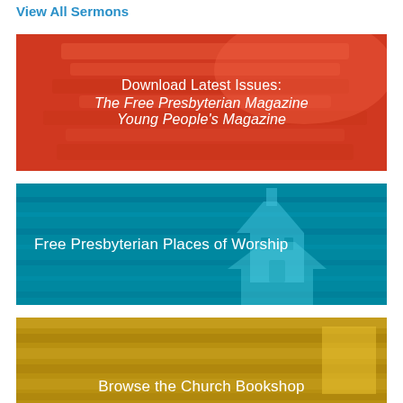View All Sermons
[Figure (illustration): Red/orange banner with stacked magazines/papers texture overlay, containing text: Download Latest Issues: The Free Presbyterian Magazine Young People's Magazine]
[Figure (illustration): Teal/blue banner with church building silhouette overlay, containing text: Free Presbyterian Places of Worship]
[Figure (illustration): Gold/yellow banner with stacked books texture overlay, containing text: Browse the Church Bookshop (partially visible)]